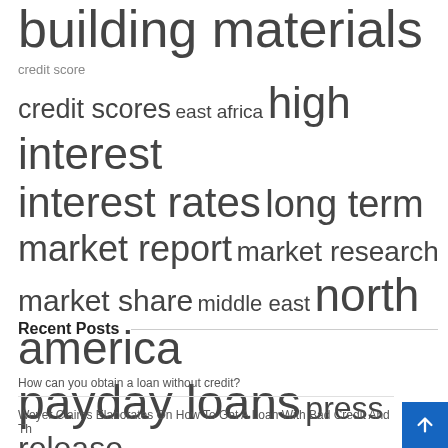building materials  credit score  credit scores  east africa  high interest  interest rates  long term  market report  market research  market share  middle east  north america  payday loans  press release  short term  united states
Recent Posts
How can you obtain a loan without credit?
Weyer Claims Elaborates On How To Get A Loan With Bad Credit And Th...